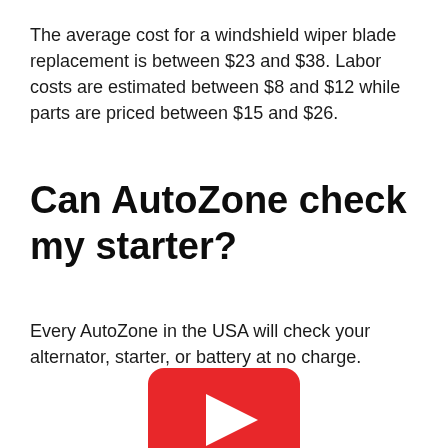The average cost for a windshield wiper blade replacement is between $23 and $38. Labor costs are estimated between $8 and $12 while parts are priced between $15 and $26.
Can AutoZone check my starter?
Every AutoZone in the USA will check your alternator, starter, or battery at no charge.
[Figure (other): YouTube play button icon — red rounded rectangle with white triangle play arrow]